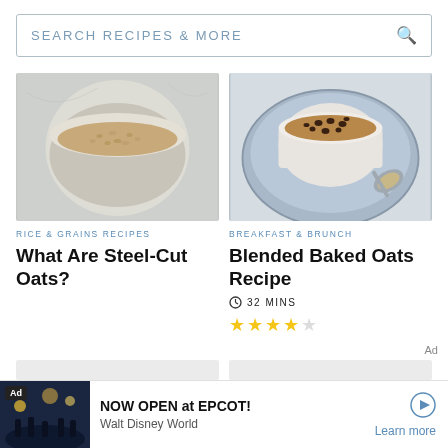SEARCH RECIPES & MORE
[Figure (photo): Bowl of steel-cut oats on gray marble surface]
RICE & GRAINS RECIPES
What Are Steel-Cut Oats?
[Figure (photo): Blended baked oats in white ramekin on blue plate with spoon]
BREAKFAST & BRUNCH
Blended Baked Oats Recipe
32 MINS
Ad
NOW OPEN at EPCOT!
Walt Disney World
Learn more